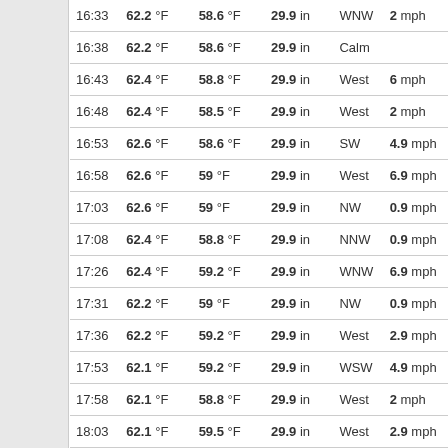| Time | Temp | Dew Point | Pressure | Direction | Wind |
| --- | --- | --- | --- | --- | --- |
| 16:33 | 62.2 °F | 58.6 °F | 29.9 in | WNW | 2 mph |
| 16:38 | 62.2 °F | 58.6 °F | 29.9 in | Calm |  |
| 16:43 | 62.4 °F | 58.8 °F | 29.9 in | West | 6 mph |
| 16:48 | 62.4 °F | 58.5 °F | 29.9 in | West | 2 mph |
| 16:53 | 62.6 °F | 58.6 °F | 29.9 in | SW | 4.9 mph |
| 16:58 | 62.6 °F | 59 °F | 29.9 in | West | 6.9 mph |
| 17:03 | 62.6 °F | 59 °F | 29.9 in | NW | 0.9 mph |
| 17:08 | 62.4 °F | 58.8 °F | 29.9 in | NNW | 0.9 mph |
| 17:26 | 62.4 °F | 59.2 °F | 29.9 in | WNW | 6.9 mph |
| 17:31 | 62.2 °F | 59 °F | 29.9 in | NW | 0.9 mph |
| 17:36 | 62.2 °F | 59.2 °F | 29.9 in | West | 2.9 mph |
| 17:53 | 62.1 °F | 59.2 °F | 29.9 in | WSW | 4.9 mph |
| 17:58 | 62.1 °F | 58.8 °F | 29.9 in | West | 2 mph |
| 18:03 | 62.1 °F | 59.5 °F | 29.9 in | West | 2.9 mph |